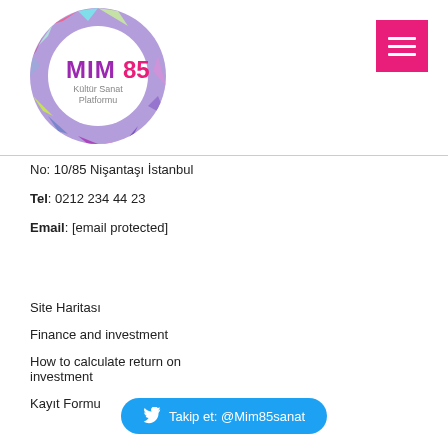[Figure (logo): MIM85 Kültür Sanat Platformu circular logo with colorful geometric mosaic border and purple/pink text inside white circle]
No: 10/85 Nişantaşı İstanbul
Tel: 0212 234 44 23
Email: [email protected]
Site Haritası
Finance and investment
How to calculate return on investment
Kayıt Formu
Takip et: @Mim85sanat